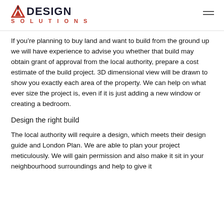AC DESIGN SOLUTIONS
If you’re planning to buy land and want to build from the ground up we will have experience to advise you whether that build may obtain grant of approval from the local authority, prepare a cost estimate of the build project. 3D dimensional view will be drawn to show you exactly each area of the property. We can help on what ever size the project is, even if it is just adding a new window or creating a bedroom.
Design the right build
The local authority will require a design, which meets their design guide and London Plan. We are able to plan your project meticulously. We will gain permission and also make it sit in your neighbourhood surroundings and help to give it an identity of its own.